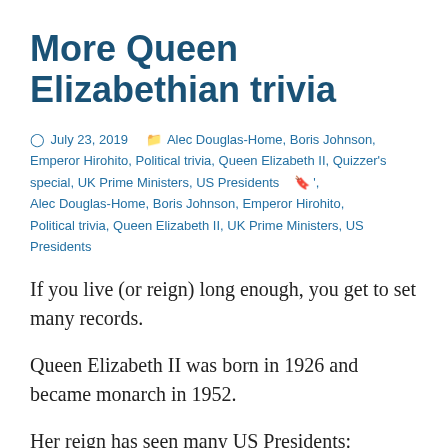More Queen Elizabethian trivia
July 23, 2019   Alec Douglas-Home, Boris Johnson, Emperor Hirohito, Political trivia, Queen Elizabeth II, Quizzer's special, UK Prime Ministers, US Presidents  ', Alec Douglas-Home, Boris Johnson, Emperor Hirohito, Political trivia, Queen Elizabeth II, UK Prime Ministers, US Presidents
If you live (or reign) long enough, you get to set many records.
Queen Elizabeth II was born in 1926 and became monarch in 1952.
Her reign has seen many US Presidents: